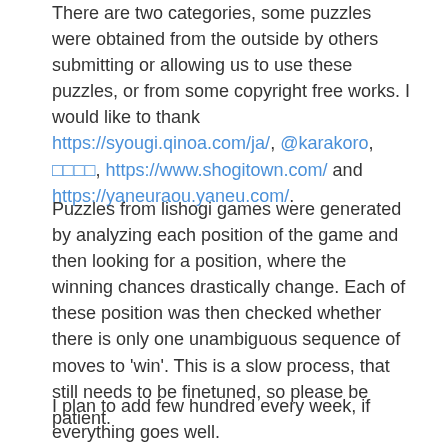There are two categories, some puzzles were obtained from the outside by others submitting or allowing us to use these puzzles, or from some copyright free works. I would like to thank https://syougi.qinoa.com/ja/, @karakoro, □□□□, https://www.shogitown.com/ and https://yaneuraou.yaneu.com/.
Puzzles from lishogi games were generated by analyzing each position of the game and then looking for a position, where the winning chances drastically change. Each of these position was then checked whether there is only one unambiguous sequence of moves to 'win'. This is a slow process, that still needs to be finetuned, so please be patient.
I plan to add few hundred every week, if everything goes well.